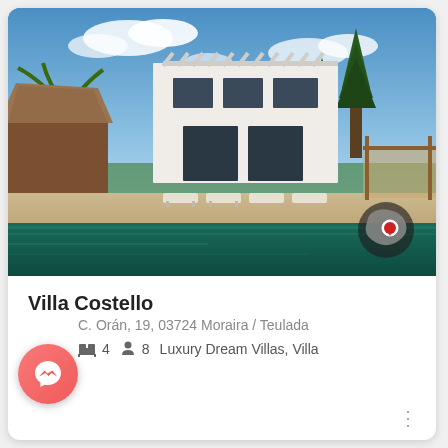[Figure (photo): Luxury white modern villa with swimming pool, sun loungers, thatched gazebo on left, tall pine trees in background, blue sky with clouds. Map overlay in bottom right showing Spain silhouette with red location marker.]
Villa Costello
C. Orán, 19, 03724 Moraira / Teulada
4   8   Luxury Dream Villas, Villa